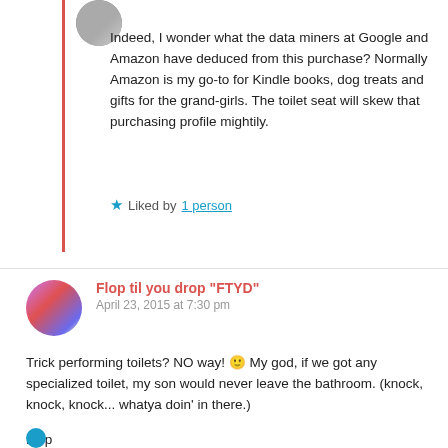Indeed, I wonder what the data miners at Google and Amazon have deduced from this purchase? Normally Amazon is my go-to for Kindle books, dog treats and gifts for the grand-girls. The toilet seat will skew that purchasing profile mightily.
★ Liked by 1 person
Reply
Flop til you drop "FTYD"
April 23, 2015 at 7:30 pm
Trick performing toilets? NO way! 🙂 My god, if we got any specialized toilet, my son would never leave the bathroom. (knock, knock, knock... whatya doin' in there.)
Flop
https://flipflopseveryday.wordpress.com/